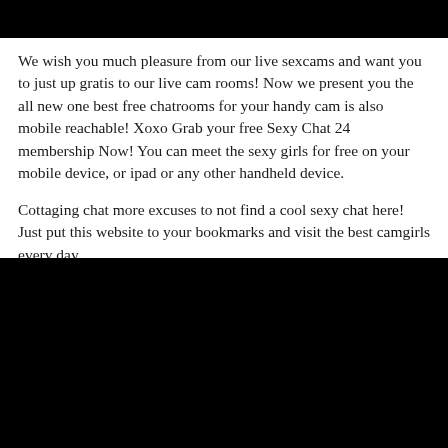[Figure (other): Black bar at the top of the page]
We wish you much pleasure from our live sexcams and want you to just up gratis to our live cam rooms! Now we present you the all new one best free chatrooms for your handy cam is also mobile reachable! Xoxo Grab your free Sexy Chat 24 membership Now! You can meet the sexy girls for free on your mobile device, or ipad or any other handheld device.
Cottaging chat more excuses to not find a cool sexy chat here! Just put this website to your bookmarks and visit the best camgirls every day.
[Figure (other): Black bar at the bottom of the page]